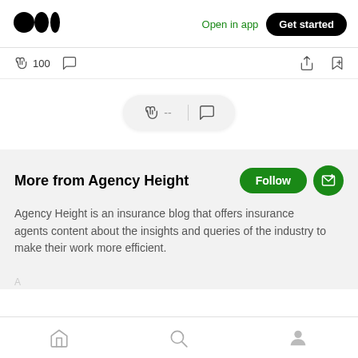[Figure (screenshot): Medium app logo (three dots: one large black circle and two smaller black ovals)]
Open in app
Get started
100
[Figure (screenshot): Clap and comment floating pill with dashes and comment icon]
More from Agency Height
Follow
Agency Height is an insurance blog that offers insurance agents content about the insights and queries of the industry to make their work more efficient.
[Figure (screenshot): Bottom navigation bar with home, search, and profile icons]